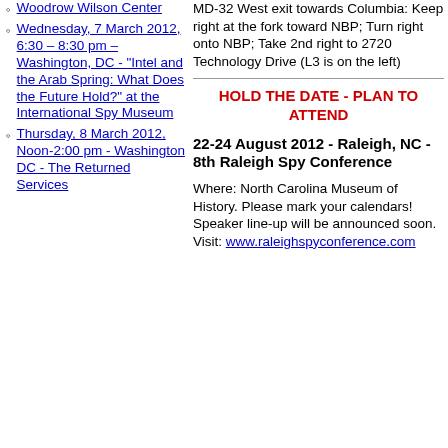Woodrow Wilson Center
Wednesday, 7 March 2012, 6:30 – 8:30 pm – Washington, DC - "Intel and the Arab Spring: What Does the Future Hold?" at the International Spy Museum
Thursday, 8 March 2012, Noon-2:00 pm - Washington DC - The Returned Services
MD-32 West exit towards Columbia: Keep right at the fork toward NBP; Turn right onto NBP; Take 2nd right to 2720 Technology Drive (L3 is on the left)
HOLD THE DATE - PLAN TO ATTEND
22-24 August 2012 - Raleigh, NC - 8th Raleigh Spy Conference
Where: North Carolina Museum of History. Please mark your calendars! Speaker line-up will be announced soon. Visit: www.raleighspyconference.com